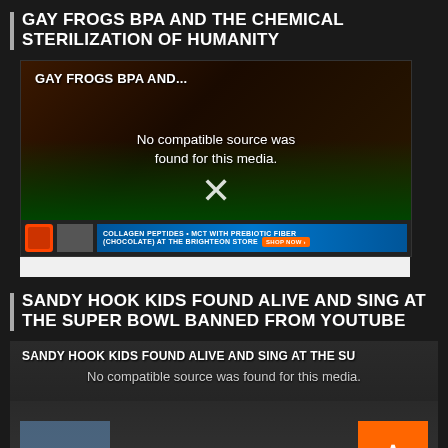GAY FROGS BPA AND THE CHEMICAL STERILIZATION OF HUMANITY
[Figure (screenshot): Video player showing 'GAY FROGS BPA AND...' with error message 'No compatible source was found for this media.' and an X symbol, with a collagen peptides advertisement bar at the bottom]
SANDY HOOK KIDS FOUND ALIVE AND SING AT THE SUPER BOWL BANNED FROM YOUTUBE
[Figure (screenshot): Video player showing 'SANDY HOOK KIDS FOUND ALIVE AND SING AT THE SU' with error message 'No compatible source was found for this media.' showing group of children/people in white shirts with a flag in background, X symbol, and orange back-to-top button]